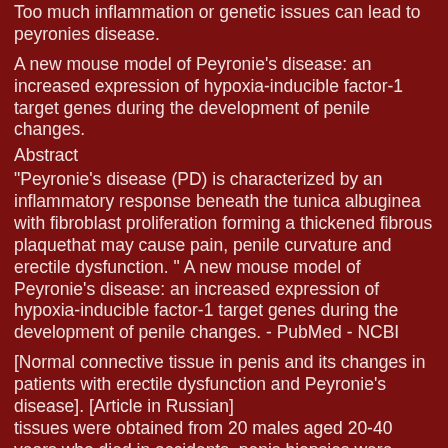Too much inflammation or genetic issues can lead to peyronies disease.
A new mouse model of Peyronie's disease: an increased expression of hypoxia-inducible factor-1 target genes during the development of penile changes.
Abstract
"Peyronie's disease (PD) is characterized by an inflammatory response beneath the tunica albuginea with fibroblast proliferation forming a thickened fibrous plaquethat may cause pain, penile curvature and erectile dysfunction. " A new mouse model of Peyronie's disease: an increased expression of hypoxia-inducible factor-1 target genes during the development of penile changes. - PubMed - NCBI
[Normal connective tissue in penis and its changes in patients with erectile dysfunction and Peyronie's disease]. [Article in Russian] tissues were obtained from 20 males aged 20-40 years who died in accidents, penis biopsies were taken from 23 patients with ED and 9 patients with PD (average age: 51 +/- 11.5 years). In both groups of patients, the volumetric fraction of